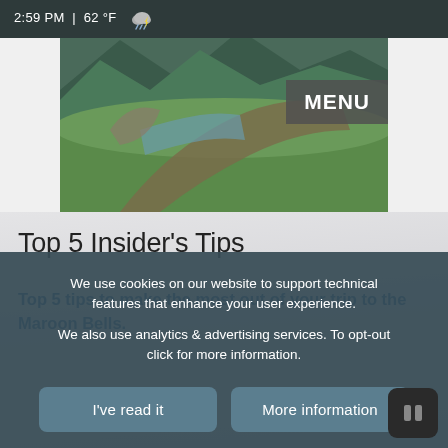2:59 PM | 62 °F
[Figure (photo): Landscape photo of Maroon Bells area with green meadow, mountain stream, and rocky hillside.]
Top 5 Insider's Tips
Top 5 tips to make the most out of your trip to the Maroon Bells.
We use cookies on our website to support technical features that enhance your user experience.
We also use analytics & advertising services. To opt-out click for more information.
I've read it
More information